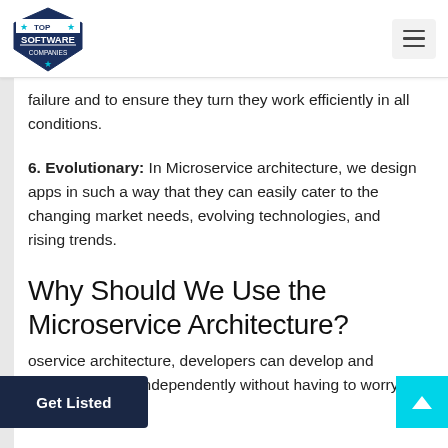TOP SOFTWARE COMPANIES
failure and to ensure they turn they work efficiently in all conditions.
6. Evolutionary: In Microservice architecture, we design apps in such a way that they can easily cater to the changing market needs, evolving technologies, and rising trends.
Why Should We Use the Microservice Architecture?
oservice architecture, developers can develop and deploy services independently without having to worry